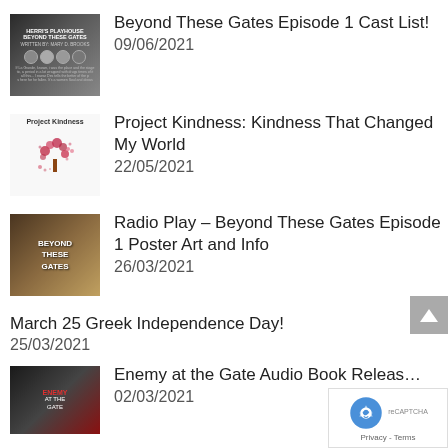[Figure (photo): Thumbnail for Beyond These Gates Episode 1 Cast List - dark background with text and faces]
Beyond These Gates Episode 1 Cast List!
09/06/2021
[Figure (photo): Project Kindness thumbnail with tree illustration]
Project Kindness: Kindness That Changed My World
22/05/2021
[Figure (photo): Beyond These Gates radio play poster with gate imagery]
Radio Play – Beyond These Gates Episode 1 Poster Art and Info
26/03/2021
March 25 Greek Independence Day!
25/03/2021
[Figure (photo): Enemy at the Gate Audio Book Release thumbnail]
Enemy at the Gate Audio Book Releas…
02/03/2021